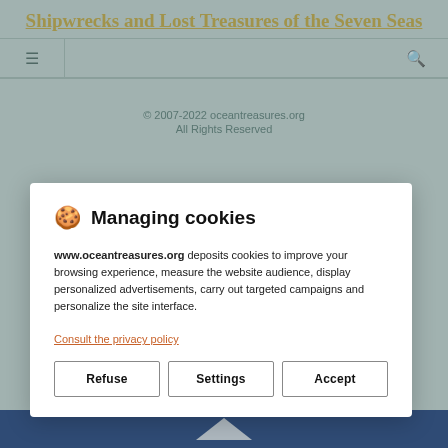Shipwrecks and Lost Treasures of the Seven Seas
© 2007-2022 oceantreasures.org
All Rights Reserved
🍪  Managing cookies
www.oceantreasures.org deposits cookies to improve your browsing experience, measure the website audience, display personalized advertisements, carry out targeted campaigns and personalize the site interface.
Consult the privacy policy
Refuse    Settings    Accept